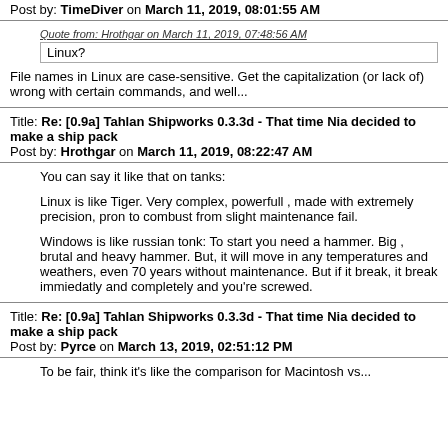Post by: TimeDiver on March 11, 2019, 08:01:55 AM
Quote from: Hrothgar on March 11, 2019, 07:48:56 AM
Linux?
File names in Linux are case-sensitive. Get the capitalization (or lack of) wrong with certain commands, and well...
Title: Re: [0.9a] Tahlan Shipworks 0.3.3d - That time Nia decided to make a ship pack
Post by: Hrothgar on March 11, 2019, 08:22:47 AM
You can say it like that on tanks:
Linux is like Tiger. Very complex, powerfull , made with extremely precision, pron to combust from slight maintenance fail.
Windows is like russian tonk: To start you need a hammer. Big , brutal and heavy hammer. But, it will move in any temperatures and weathers, even 70 years without maintenance. But if it break, it break immiedatly and completely and you're screwed.
Title: Re: [0.9a] Tahlan Shipworks 0.3.3d - That time Nia decided to make a ship pack
Post by: Pyrce on March 13, 2019, 02:51:12 PM
To be fair, think it's like the comparison for Macintosh vs...